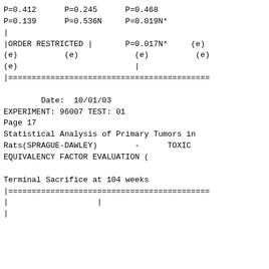P=0.412      P=0.245      P=0.468
P=0.139      P=0.536N     P=0.019N*
|
|ORDER RESTRICTED |       P=0.017N*     (e)
(e)          (e)            (e)          (e)
(e)                         |
|===========================================

        Date:  10/01/03
EXPERIMENT: 96007 TEST: 01
Page 17
Statistical Analysis of Primary Tumors in
Rats(SPRAGUE-DAWLEY)        -      TOXIC
EQUIVALENCY FACTOR EVALUATION (

Terminal Sacrifice at 104 weeks
|===========================================
|
|